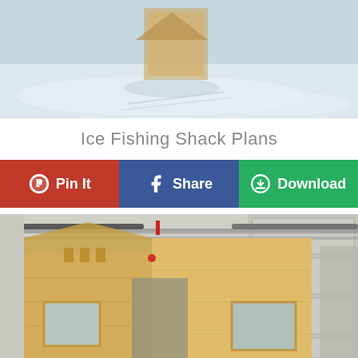[Figure (photo): Outdoor winter scene with snow on ground and a wooden ice fishing shack structure visible]
Ice Fishing Shack Plans
[Figure (infographic): Three social sharing buttons: Pin It (red/Pinterest), Share (blue/Facebook), Download (green)]
[Figure (photo): Ice fishing shack under construction in a garage, showing plywood walls with window cutouts and wooden framing, clamps visible holding pieces together]